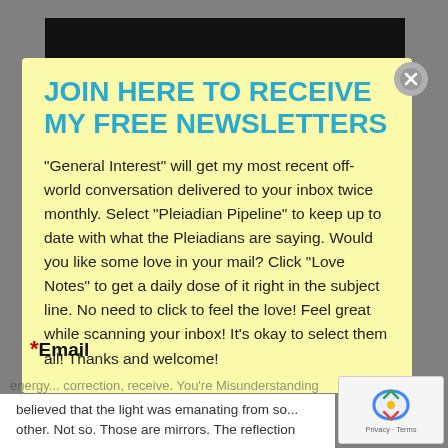JOIN HERE TO RECEIVE MY FREE NEWSLETTERS
"General Interest" will get my most recent off-world conversation delivered to your inbox twice monthly. Select "Pleiadian Pipeline" to keep up to date with what the Pleiadians are saying. Would you like some love in your mail? Click "Love Notes" to get a daily dose of it right in the subject line. No need to click to feel the love! Feel great while scanning your inbox! It's okay to select them all! Thanks and welcome!
*Email
energy... correction, receive. You're Misunderstanding believed that the light was emanating from so... other. Not so. Those are mirrors. The reflection